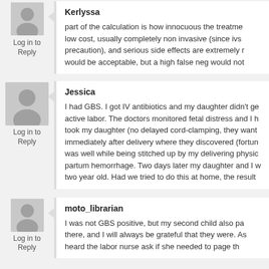Kerlyssa
Log in to Reply
part of the calculation is how innocuous the treatment is: low cost, usually completely non invasive (since ivs are a precaution), and serious side effects are extremely rare. A high false pos would be acceptable, but a high false neg would not
Jessica
Log in to Reply
I had GBS. I got IV antibiotics and my daughter didn't get it active labor. The doctors monitored fetal distress and I had took my daughter (no delayed cord-clamping, they want immediately after delivery where they discovered (fortun was well while being stitched up by my delivering physio partum hemorrhage. Two days later my daughter and I w two year old. Had we tried to do this at home, the result
moto_librarian
Log in to Reply
I was not GBS positive, but my second child also pa there, and I will always be grateful that they were. As heard the labor nurse ask if she needed to page th